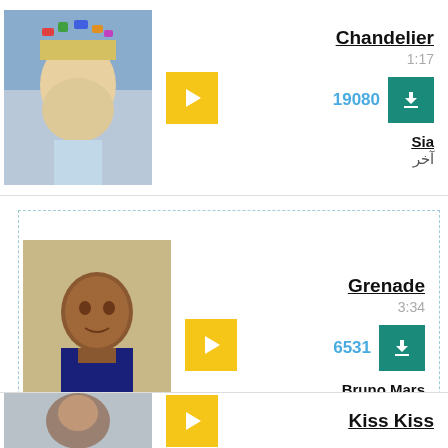[Figure (screenshot): Music listing card 1: Chandelier by Sia, thumbnail of person with colorful headpiece, play button, duration 1:17, 19080 downloads]
Chandelier
1:17
19080
Sia
آخر
[Figure (screenshot): Music listing card 2: Grenade by Bruno Mars, thumbnail of man in dark jacket, play button, duration 3:34, 6531 downloads]
Grenade
3:34
6531
Bruno Mars
آخر
[Figure (screenshot): Music listing card 3 (partial): Kiss Kiss, thumbnail of man]
Kiss Kiss